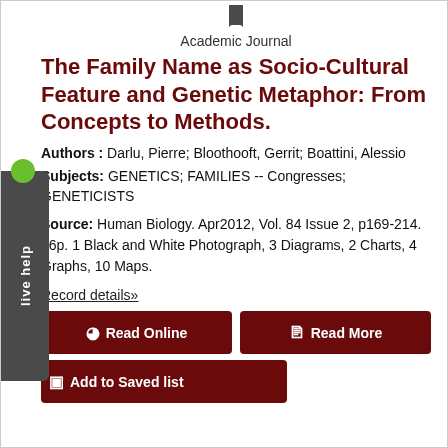Academic Journal
The Family Name as Socio-Cultural Feature and Genetic Metaphor: From Concepts to Methods.
Authors : Darlu, Pierre; Bloothooft, Gerrit; Boattini, Alessio
Subjects: GENETICS; FAMILIES -- Congresses; GENETICISTS
Source: Human Biology. Apr2012, Vol. 84 Issue 2, p169-214. 46p. 1 Black and White Photograph, 3 Diagrams, 2 Charts, 4 Graphs, 10 Maps.
Record details»